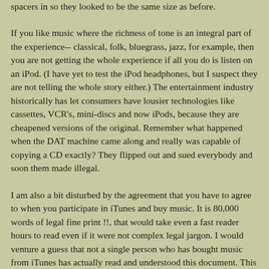spacers in so they looked to be the same size as before.
If you like music where the richness of tone is an integral part of the experience-- classical, folk, bluegrass, jazz, for example, then you are not getting the whole experience if all you do is listen on an iPod. (I have yet to test the iPod headphones, but I suspect they are not telling the whole story either.) The entertainment industry historically has let consumers have lousier technologies like cassettes, VCR's, mini-discs and now iPods, because they are cheapened versions of the original. Remember what happened when the DAT machine came along and really was capable of copying a CD exactly? They flipped out and sued everybody and soon them made illegal.
I am also a bit disturbed by the agreement that you have to agree to when you participate in iTunes and buy music. It is 80,000 words of legal fine print !!, that would take even a fast reader hours to read even if it were not complex legal jargon. I would venture a guess that not a single person who has bought music from iTunes has actually read and understood this document. This is clearly not fair and reasonable.
If you buy one of my CD's, for example, you'll find that the real songs cost less than 99c a song-- the last time I calculated it was